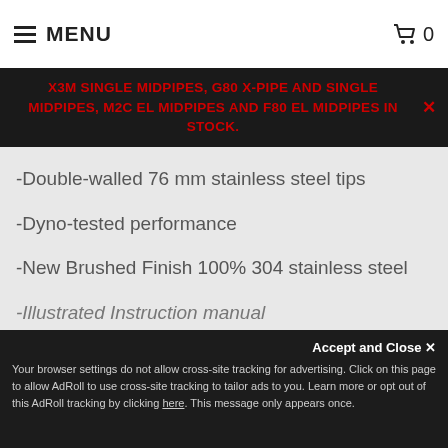MENU  [cart] 0
X3M SINGLE MIDPIPES, G80 X-PIPE AND SINGLE MIDPIPES, M2C EL MIDPIPES AND F80 EL MIDPIPES IN STOCK.
-Double-walled 76 mm stainless steel tips
-Dyno-tested performance
-New Brushed Finish 100% 304 stainless steel
-Thicker exhaust flanges for a tighter seal
-Large 54 mm twin inlet pipes
-Mandrel Bent Piping
-Illustrated Instruction manual
Accept and Close ✕  Your browser settings do not allow cross-site tracking for advertising. Click on this page to allow AdRoll to use cross-site tracking to tailor ads to you. Learn more or opt out of this AdRoll tracking by clicking here. This message only appears once.